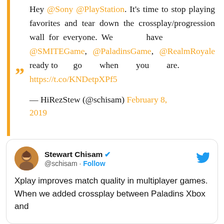Hey @Sony @PlayStation. It's time to stop playing favorites and tear down the crossplay/progression wall for everyone. We have @SMITEGame, @PaladinsGame, @RealmRoyale ready to go when you are. https://t.co/KNDetpXPf5

— HiRezStew (@schisam) February 8, 2019
[Figure (screenshot): Embedded tweet from Stewart Chisam (@schisam) with verified badge and Follow button. Tweet begins: 'Xplay improves match quality in multiplayer games. When we added crossplay between Paladins Xbox and']